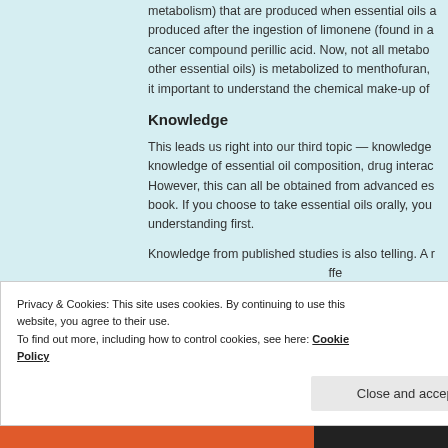metabolism) that are produced when essential oils are produced after the ingestion of limonene (found in a cancer compound perillic acid. Now, not all metabo other essential oils) is metabolized to menthofuran, it important to understand the chemical make-up of
Knowledge
This leads us right into our third topic — knowledge knowledge of essential oil composition, drug interac However, this can all be obtained from advanced es book. If you choose to take essential oils orally, you understanding first.
Knowledge from published studies is also telling. A
Privacy & Cookies: This site uses cookies. By continuing to use this website, you agree to their use.
To find out more, including how to control cookies, see here: Cookie Policy